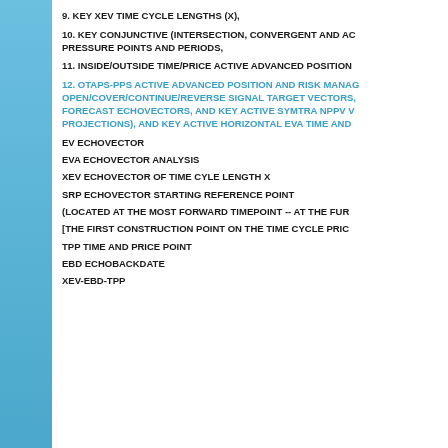9. KEY XEV TIME CYCLE LENGTHS (X),
10. KEY CONJUNCTIVE (INTERSECTION, CONVERGENT AND ACCUMULATIVE) PRESSURE POINTS AND PERIODS,
11. INSIDE/OUTSIDE TIME/PRICE ACTIVE ADVANCED POSITION
12. OTAPS-PPS ACTIVE ADVANCED POSITION AND RISK MANAGEMENT OPEN/COVER/CONTINUE/REVERSE SIGNAL TARGET VECTORS, FORECAST ECHOVECTORS, AND KEY ACTIVE SYMTRA NPPV VECTOR PROJECTIONS), AND KEY ACTIVE HORIZONTAL EVA TIME AND
EV ECHOVECTOR
EVA ECHOVECTOR ANALYSIS
XEV ECHOVECTOR OF TIME CYLE LENGTH X
SRP ECHOVECTOR STARTING REFERENCE POINT
(LOCATED AT THE MOST FORWARD TIMEPOINT -- AT THE FUR
[THE FIRST CONSTRUCTION POINT ON THE TIME CYCLE PRIC
TPP TIME AND PRICE POINT
EBD ECHOBACKDATE
XEV-EBD-TPP